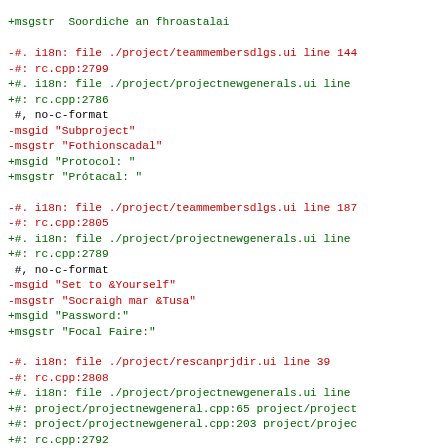+msgstr  Soordiche an fhroastalai

-#. i18n: file ./project/teammembersdlgs.ui line 144
-#: rc.cpp:2799
+#. i18n: file ./project/projectnewgenerals.ui line
+#: rc.cpp:2786
 #, no-c-format
-msgid "Subproject"
-msgstr "Fothionscadal"
+msgid "Protocol: "
+msgstr "Prótacal: "

-#. i18n: file ./project/teammembersdlgs.ui line 187
-#: rc.cpp:2805
+#. i18n: file ./project/projectnewgenerals.ui line
+#: rc.cpp:2789
 #, no-c-format
-msgid "Set to &Yourself"
-msgstr "Socraigh mar &Tusa"
+msgid "Password:"
+msgstr "Focal Faire:"

-#. i18n: file ./project/rescanprjdir.ui line 39
-#: rc.cpp:2808
+#. i18n: file ./project/projectnewgenerals.ui line
+#: project/projectnewgeneral.cpp:65 project/project
+#: project/projectnewgeneral.cpp:203 project/projec
+#: rc.cpp:2792
 #, no-c-format
-msgid "MyDialog"
-msgstr "MoDialóg"